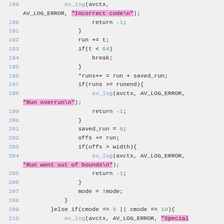[Figure (screenshot): Source code screenshot showing C code lines 189-210 with syntax highlighting. Line numbers in blue, string literals highlighted in pink/magenta, numeric literals in green, function calls in blue, on a light gray background.]